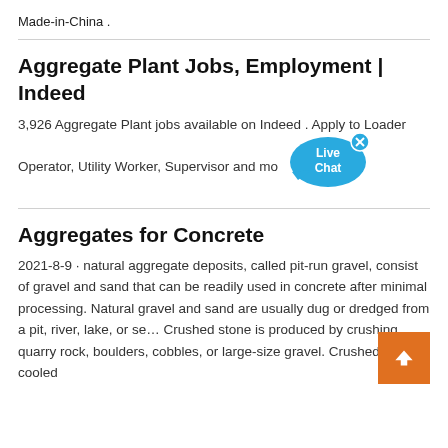Made-in-China .
Aggregate Plant Jobs, Employment | Indeed
3,926 Aggregate Plant jobs available on Indeed . Apply to Loader Operator, Utility Worker, Supervisor and mo…
[Figure (illustration): Live Chat speech bubble icon in blue with a small close 'x' button]
Aggregates for Concrete
2021-8-9 · natural aggregate deposits, called pit-run gravel, consist of gravel and sand that can be readily used in concrete after minimal processing. Natural gravel and sand are usually dug or dredged from a pit, river, lake, or se… Crushed stone is produced by crushing quarry rock, boulders, cobbles, or large-size gravel. Crushed air-cooled
[Figure (illustration): Orange back-to-top button with white chevron arrow pointing upward]